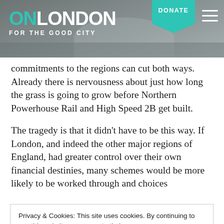ON LONDON — FOR THE GOOD CITY | DONATE
commitments to the regions can cut both ways. Already there is nervousness about just how long the grass is going to grow before Northern Powerhouse Rail and High Speed 2B get built.
The tragedy is that it didn't have to be this way. If London, and indeed the other major regions of England, had greater control over their own financial destinies, many schemes would be more likely to be worked through and choices
Privacy & Cookies: This site uses cookies. By continuing to use this website, you agree to their use.
To find out more, including how to control cookies, see here: Cookie Policy
about how seriously the government – led by a